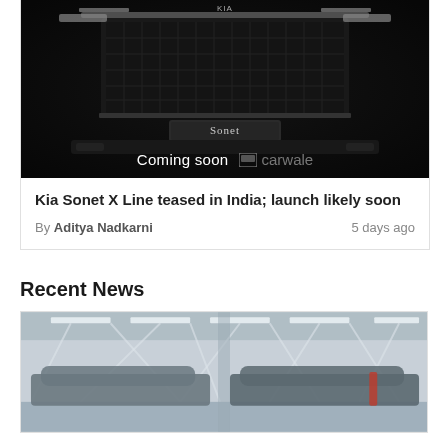[Figure (photo): Dark teaser image of Kia Sonet X Line front grille with 'Sonet' badge visible and 'Coming soon' text with carwale logo]
Kia Sonet X Line teased in India; launch likely soon
By Aditya Nadkarni   5 days ago
Recent News
[Figure (photo): Interior of a car service garage with bright fluorescent lights on ceiling and vehicles visible]